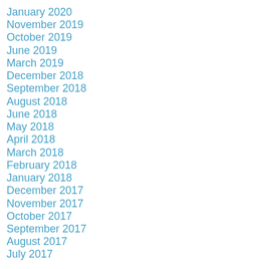January 2020
November 2019
October 2019
June 2019
March 2019
December 2018
September 2018
August 2018
June 2018
May 2018
April 2018
March 2018
February 2018
January 2018
December 2017
November 2017
October 2017
September 2017
August 2017
July 2017